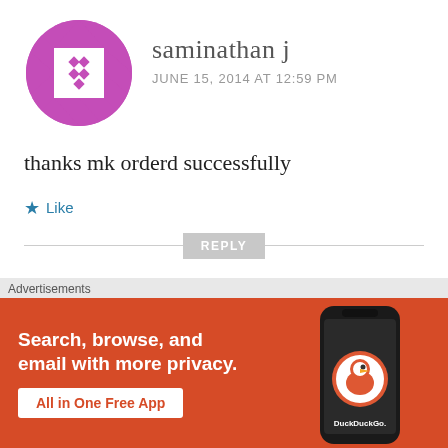[Figure (illustration): Purple geometric mosaic avatar circle for user saminathan j]
saminathan j
JUNE 15, 2014 AT 12:59 PM
thanks mk orderd successfully
Like
REPLY
[Figure (illustration): Partial orange/brown mosaic avatar for user Abhishek]
Abhishek
Advertisements
[Figure (illustration): DuckDuckGo advertisement banner: Search, browse, and email with more privacy. All in One Free App. Shows phone with DuckDuckGo logo.]